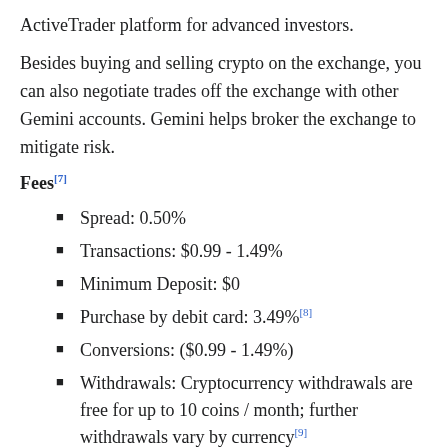ActiveTrader platform for advanced investors.
Besides buying and selling crypto on the exchange, you can also negotiate trades off the exchange with other Gemini accounts. Gemini helps broker the exchange to mitigate risk.
Fees[7]
Spread: 0.50%
Transactions: $0.99 - 1.49%
Minimum Deposit: $0
Purchase by debit card: 3.49%[8]
Conversions: ($0.99 - 1.49%)
Withdrawals: Cryptocurrency withdrawals are free for up to 10 coins / month; further withdrawals vary by currency[9]
Supported Coins